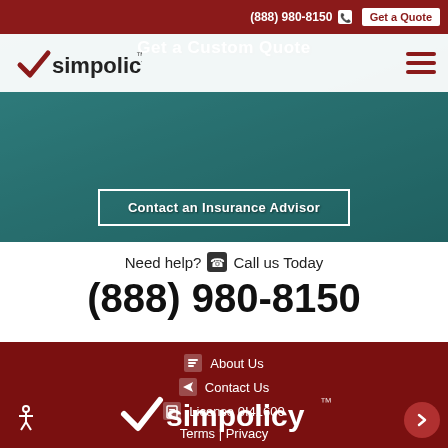(888) 980-8150 | Get a Quote
[Figure (logo): simpolicy logo with checkmark in top nav bar]
Get a Custom Quote
Contact an Insurance Advisor
Need help? Call us Today
(888) 980-8150
About Us
Contact Us
License 0I41600
Terms | Privacy
[Figure (logo): simpolicy logo at bottom footer in white]